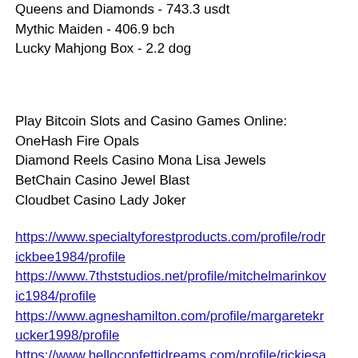Queens and Diamonds - 743.3 usdt
Mythic Maiden - 406.9 bch
Lucky Mahjong Box - 2.2 dog
Play Bitcoin Slots and Casino Games Online:
OneHash Fire Opals
Diamond Reels Casino Mona Lisa Jewels
BetChain Casino Jewel Blast
Cloudbet Casino Lady Joker
https://www.specialtyforestproducts.com/profile/rodrickbee1984/profile
https://www.7thststudios.net/profile/mitchelmarinkovic1984/profile
https://www.agneshamilton.com/profile/margaretekrucker1998/profile
https://www.helloconfettidreams.com/profile/rickiesandra1992/profile